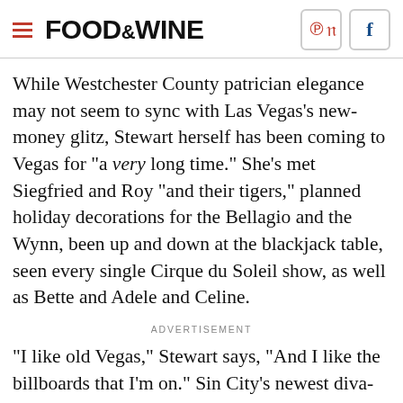FOOD & WINE
While Westchester County patrician elegance may not seem to sync with Las Vegas's new-money glitz, Stewart herself has been coming to Vegas for "a very long time." She's met Siegfried and Roy "and their tigers," planned holiday decorations for the Bellagio and the Wynn, been up and down at the blackjack table, seen every single Cirque du Soleil show, as well as Bette and Adele and Celine.
ADVERTISEMENT
"I like old Vegas," Stewart says, "And I like the billboards that I'm on." Sin City's newest diva-in-residence even dressed the part in a gold-glitter